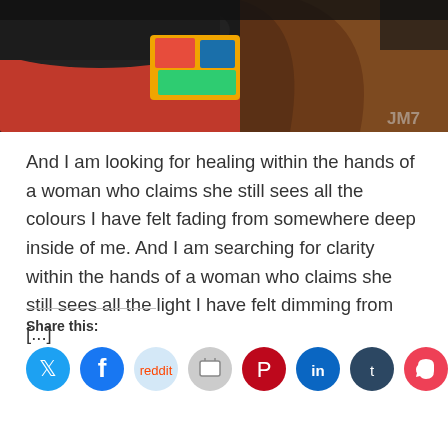[Figure (photo): A photograph showing a person's dark-sleeved arm/hand resting on pink fabric, with a colorful item and long brown hair visible in the background. Watermark 'JM7' in bottom right corner.]
And I am looking for healing within the hands of a woman who claims she still sees all the colours I have felt fading from somewhere deep inside of me. And I am searching for clarity within the hands of a woman who claims she still sees all the light I have felt dimming from [...]
Share this: